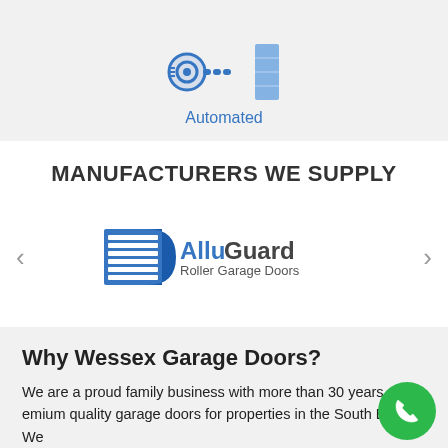[Figure (illustration): Icons for automated garage door components (motor/chain and door panel) on grey background]
Automated
MANUFACTURERS WE SUPPLY
[Figure (logo): AlluGuard Roller Garage Doors logo - blue striped rectangle icon with blue and grey text]
Why Wessex Garage Doors?
We are a proud family business with more than 30 years pr... premium quality garage doors for properties in the South East. We